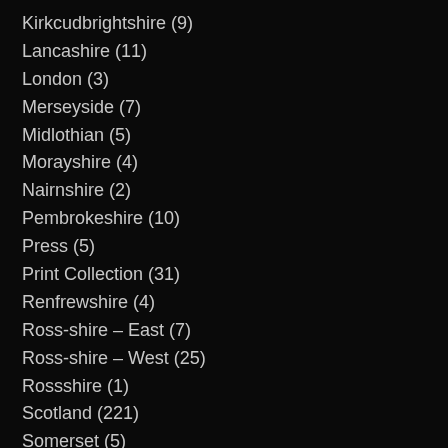Kirkcudbrightshire (9)
Lancashire (11)
London (3)
Merseyside (7)
Midlothian (5)
Morayshire (4)
Nairnshire (2)
Pembrokeshire (10)
Press (5)
Print Collection (31)
Renfrewshire (4)
Ross-shire – East (7)
Ross-shire – West (25)
Rossshire (1)
Scotland (221)
Somerset (5)
Sussex (9)
Sutherland – East (3)
Sutherland – West (18)